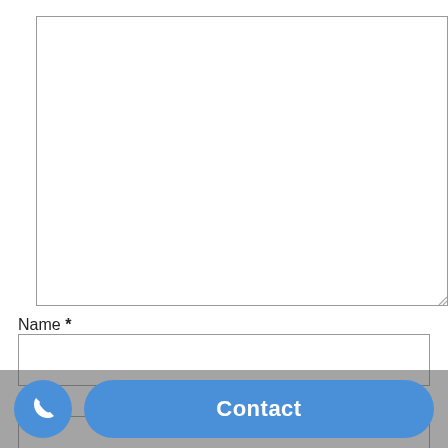[Figure (screenshot): Large empty textarea input box with resize handle in bottom-right corner]
Name *
[Figure (screenshot): Empty text input field for Name]
Email *
[Figure (screenshot): Empty text input field for Email]
[Figure (screenshot): Bottom navigation bar with a circular phone button and a blue rounded 'Contact' button]